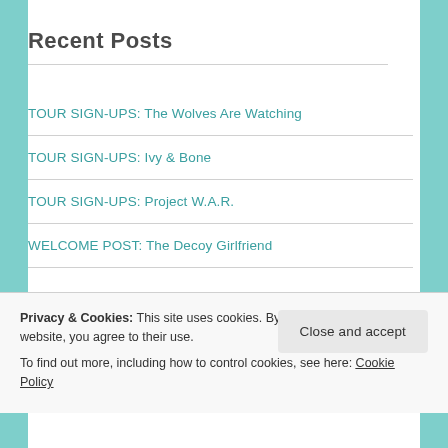Recent Posts
TOUR SIGN-UPS: The Wolves Are Watching
TOUR SIGN-UPS: Ivy & Bone
TOUR SIGN-UPS: Project W.A.R.
WELCOME POST: The Decoy Girlfriend
Privacy & Cookies: This site uses cookies. By continuing to use this website, you agree to their use.
To find out more, including how to control cookies, see here: Cookie Policy
Close and accept